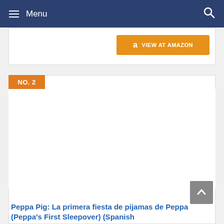Menu
[Figure (screenshot): Amazon VIEW AT AMAZON button in orange]
NO. 2
[Figure (photo): Product image area for Peppa Pig book]
Peppa Pig: La primera fiesta de pijamas de Peppa (Peppa's First Sleepover) (Spanish